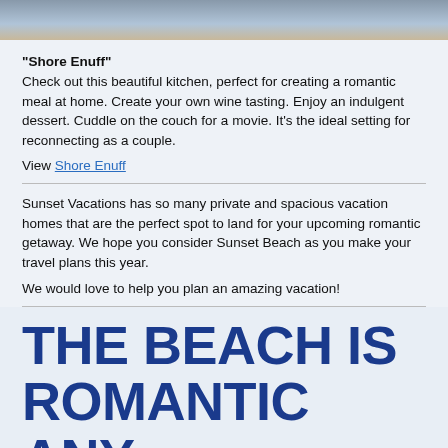[Figure (photo): Partial view of a kitchen interior with stools, tile flooring, and counter visible at the top of the page.]
"Shore Enuff"
Check out this beautiful kitchen, perfect for creating a romantic meal at home. Create your own wine tasting. Enjoy an indulgent dessert. Cuddle on the couch for a movie. It's the ideal setting for reconnecting as a couple.
View Shore Enuff
Sunset Vacations has so many private and spacious vacation homes that are the perfect spot to land for your upcoming romantic getaway. We hope you consider Sunset Beach as you make your travel plans this year.
We would love to help you plan an amazing vacation!
THE BEACH IS ROMANTIC ANY